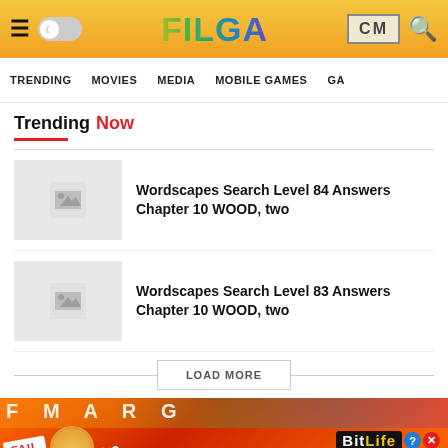FILGA — CM
TRENDING  MOVIES  MEDIA  MOBILE GAMES  GA
Trending Now
Wordscapes Search Level 84 Answers Chapter 10 WOOD, two
Wordscapes Search Level 83 Answers Chapter 10 WOOD, two
[Figure (screenshot): LOAD MORE button]
[Figure (photo): BitLife advertisement banner with FAIL badge and 'START A NEW LIFE' text]